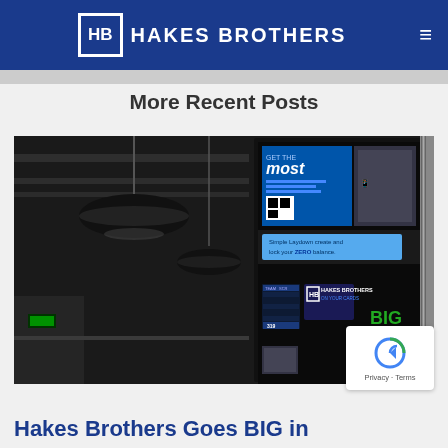HB HAKES BROTHERS
More Recent Posts
[Figure (photo): Interior of a store or warehouse with hanging black pendant lights and a digital display screen showing Hakes Brothers branding and sports betting information including 'most', 'ZERO', and 'HAKES BROTHERS BIG' text on the screen.]
Hakes Brothers Goes BIG in